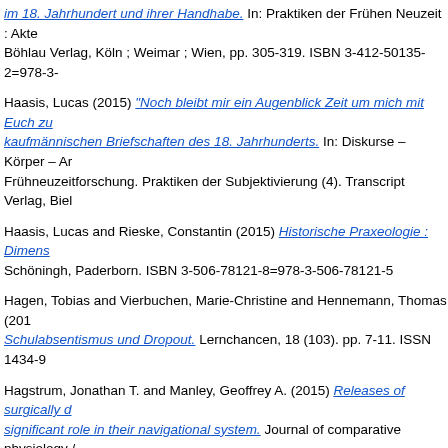im 18. Jahrhundert und ihrer Handhabe. In: Praktiken der Frühen Neuzeit : Akte Böhlau Verlag, Köln ; Weimar ; Wien, pp. 305-319. ISBN 3-412-50135-2=978-3-
Haasis, Lucas (2015) "Noch bleibt mir ein Augenblick Zeit um mich mit Euch zu kaufmännischen Briefschaften des 18. Jahrhunderts. In: Diskurse – Körper – Ar Frühneuzeitforschung. Praktiken der Subjektivierung (4). Transcript Verlag, Biel
Haasis, Lucas and Rieske, Constantin (2015) Historische Praxeologie : Dimens Schöningh, Paderborn. ISBN 3-506-78121-8=978-3-506-78121-5
Hagen, Tobias and Vierbuchen, Marie-Christine and Hennemann, Thomas (201 Schulabsentismus und Dropout. Lernchancen, 18 (103). pp. 7-11. ISSN 1434-9
Hagstrum, Jonathan T. and Manley, Geoffrey A. (2015) Releases of surgically d significant role in their navigational system. Journal of comparative physiology /
Hartmann, Anna-Maria and Nothwang, Hans Gerd (2015) Molecular and evoluti chloride cotransporters. Frontiers in Cellular Neuroscience, 8 (470). ISSN 1662-
Hermann, Sebastian (2015) Adaptationsmechanismen inhibierender Netzwerke
Heuel, Fabian (2015) Mehr Partizipation durch mehr Hierarchie: Idee oder gele Beteiligten am Fall des Strategieprozesses der Hochschule Bonn-Rhein-Sieg. M
Hieronimus, J. (2015) Wind speed measurements in an offshore wind farm by r TerraSAR-X and ground-based LiDAR systems. Masters, Carl von Ossietzky U
Hildebrandt, K. Jannis and Ronacher, Bernhard and Hennig, R. Matthias and B separation resolves ambiguity of adaptive coding. PLoS Biology, 13 (3). e1002
Hoenes, Josch (2015) Das Gewicht der Imagination - oder wie Kunst queere Ve Lorenz: Queer art : a freak theory (Queer studies). Bielefeld: Transcript Verlag